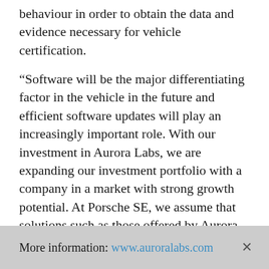behaviour in order to obtain the data and evidence necessary for vehicle certification.
“Software will be the major differentiating factor in the vehicle in the future and efficient software updates will play an increasingly important role. With our investment in Aurora Labs, we are expanding our investment portfolio with a company in a market with strong growth potential. At Porsche SE, we assume that solutions such as those offered by Aurora Labs will become increasingly important for automobile manufacturers such as the Volkswagen Group,” explains Lutz Meschke, member of the Board of Management of Porsche SE responsible for investment management.
More information: www.auroralabs.com